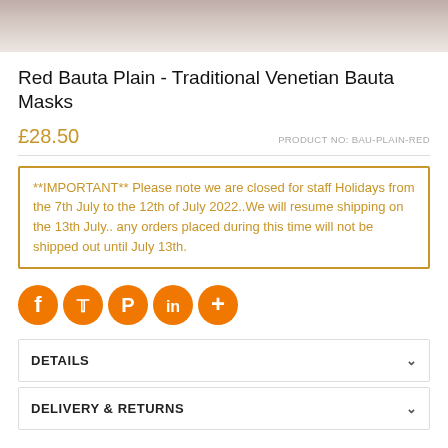[Figure (photo): Top portion of a product photo of a Red Bauta mask, cropped at top]
Red Bauta Plain - Traditional Venetian Bauta Masks
£28.50
PRODUCT NO: BAU-PLAIN-RED
**IMPORTANT** Please note we are closed for staff Holidays from the 7th July to the 12th of July 2022..We will resume shipping on the 13th July.. any orders placed during this time will not be shipped out until July 13th.
[Figure (infographic): Row of 5 orange circular social media share icons: Facebook, Twitter, Pinterest, LinkedIn, More (plus symbol)]
DETAILS
DELIVERY & RETURNS